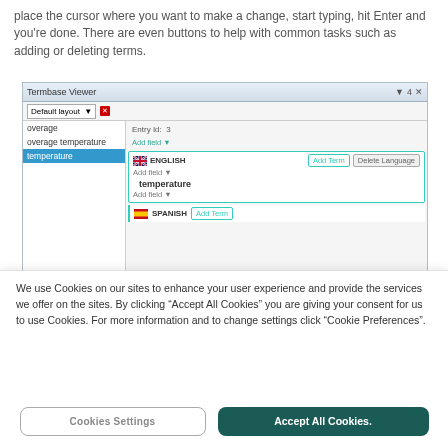place the cursor where you want to make a change, start typing, hit Enter and you're done. There are even buttons to help with common tasks such as adding or deleting terms.
[Figure (screenshot): Termbase Viewer application window showing a terminology list with entries 'overage', 'overage temperature', 'temperature' (selected in blue). The right panel shows Entry Id: 3, an ENGLISH section with 'Add Term' button and 'Delete Language' button, with the term 'temperature' listed. Below is a SPANISH section with 'Add Term' button.]
We use Cookies on our sites to enhance your user experience and provide the services we offer on the sites. By clicking “Accept All Cookies” you are giving your consent for us to use Cookies. For more information and to change settings click “Cookie Preferences”.
Cookies Settings
Accept All Cookies.